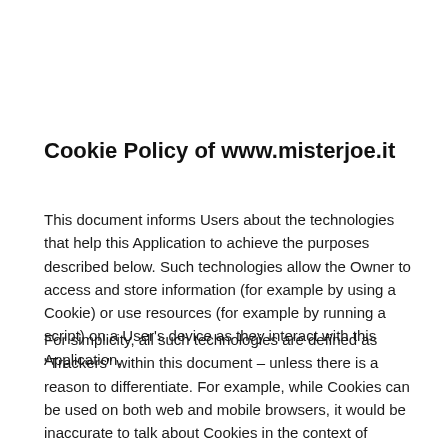Cookie Policy of www.misterjoe.it
This document informs Users about the technologies that help this Application to achieve the purposes described below. Such technologies allow the Owner to access and store information (for example by using a Cookie) or use resources (for example by running a script) on a User's device as they interact with this Application.
For simplicity, all such technologies are defined as "Trackers" within this document – unless there is a reason to differentiate. For example, while Cookies can be used on both web and mobile browsers, it would be inaccurate to talk about Cookies in the context of mobile apps as they are a browser-based Tracker. For this reason, within this document, the term Cookies is also used...